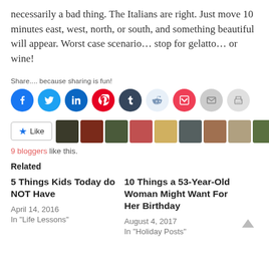necessarily a bad thing. The Italians are right. Just move 10 minutes east, west, north, or south, and something beautiful will appear. Worst case scenario… stop for gelatto… or wine!
Share.... because sharing is fun!
[Figure (infographic): Row of social sharing buttons: Facebook (blue), Twitter (light blue), LinkedIn (dark blue), Pinterest (red), Tumblr (dark navy), Reddit (light blue), Pocket (red/pink), Email (grey), Print (light grey)]
[Figure (infographic): Like button with star icon and avatars of 9 bloggers who liked the post]
9 bloggers like this.
Related
5 Things Kids Today do NOT Have
April 14, 2016
In "Life Lessons"
10 Things a 53-Year-Old Woman Might Want For Her Birthday
August 4, 2017
In "Holiday Posts"